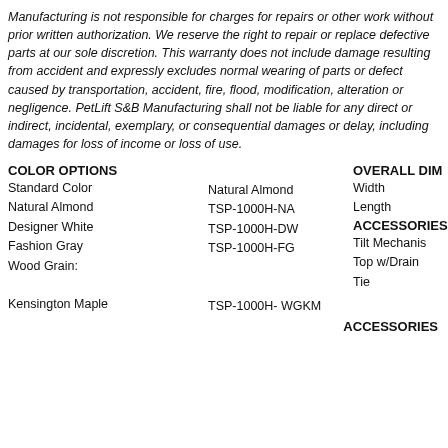Manufacturing is not responsible for charges for repairs or other work without prior written authorization. We reserve the right to repair or replace defective parts at our sole discretion. This warranty does not include damage resulting from accident and expressly excludes normal wearing of parts or defect caused by transportation, accident, fire, flood, modification, alteration or negligence. PetLift S&B Manufacturing shall not be liable for any direct or indirect, incidental, exemplary, or consequential damages or delay, including damages for loss of income or loss of use.
COLOR OPTIONS
Standard Color
Natural Almond
Designer White
Fashion Gray
Wood Grain:
Kensington Maple
Natural Almond
TSP-1000H-NA
TSP-1000H-DW
TSP-1000H-FG

TSP-1000H- WGKM
OVERALL DIM
Width
Length
ACCESSORIES
Tilt Mechanis
Top w/Drain
Tie
ACCESSORIES